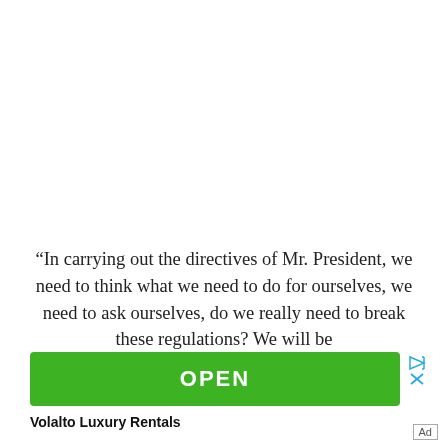“In carrying out the directives of Mr. President, we need to think what we need to do for ourselves, we need to ask ourselves, do we really need to break these regulations? We will be
[Figure (other): Green OPEN button advertisement with play and close icons, and brand name Volalto Luxury Rentals below]